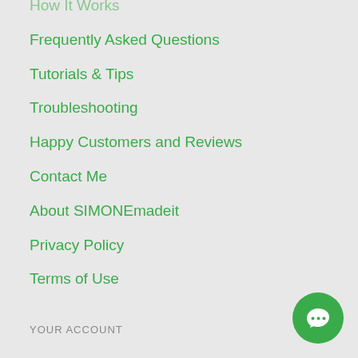How It Works
Frequently Asked Questions
Tutorials & Tips
Troubleshooting
Happy Customers and Reviews
Contact Me
About SIMONEmadeit
Privacy Policy
Terms of Use
YOUR ACCOUNT
Login / Register
Shopping Cart & Checkout
[Figure (illustration): Green circular chat button with speech bubble icon in bottom-right corner]